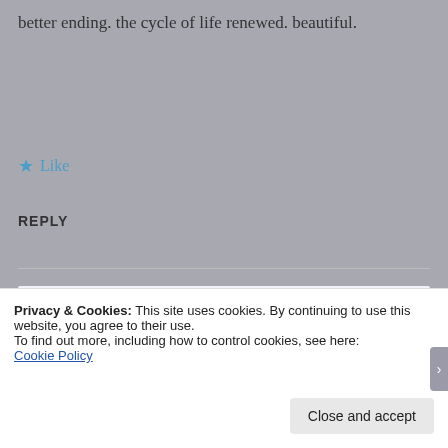better ending. the cycle of life renewed. beautiful.
★ Like
REPLY
[Figure (screenshot): WordPress app promotional banner showing 'the go.' text and 'GET THE APP' button with WordPress logo]
Privacy & Cookies: This site uses cookies. By continuing to use this website, you agree to their use.
To find out more, including how to control cookies, see here:
Cookie Policy